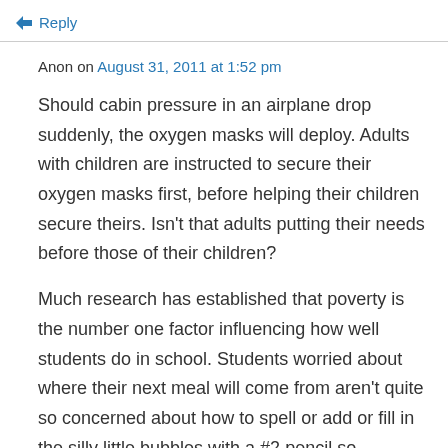↳ Reply
Anon on August 31, 2011 at 1:52 pm
Should cabin pressure in an airplane drop suddenly, the oxygen masks will deploy. Adults with children are instructed to secure their oxygen masks first, before helping their children secure theirs. Isn't that adults putting their needs before those of their children?
Much research has established that poverty is the number one factor influencing how well students do in school. Students worried about where their next meal will come from aren't quite so concerned about how to spell or add or fill in the silly little bubbles with a #2 pencil so...